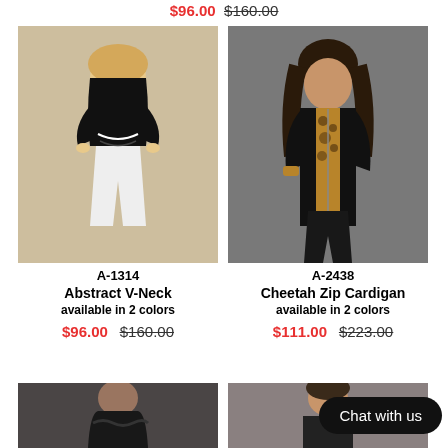$96.00  $160.00 (sale price top)
[Figure (photo): Female model wearing black abstract v-neck top with white stripe pattern and white pants, standing against beige wall]
[Figure (photo): Female model wearing cheetah print zip cardigan with black panels, sitting on stool against gray background]
A-1314
Abstract V-Neck
available in 2 colors
$96.00  $160.00
A-2438
Cheetah Zip Cardigan
available in 2 colors
$111.00  $223.00
[Figure (photo): Female model wearing dark ruffled jacket, seated, dark background]
[Figure (photo): Female model wearing dark top, neutral background]
Chat with us